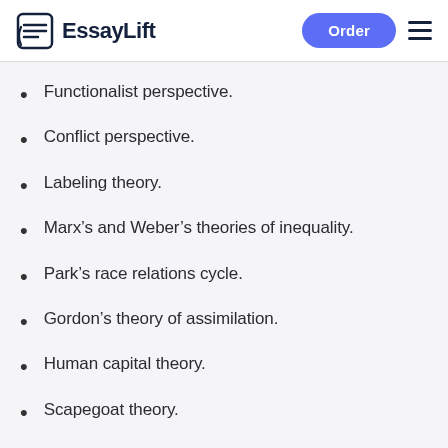EssayLift
Functionalist perspective.
Conflict perspective.
Labeling theory.
Marx’s and Weber’s theories of inequality.
Park’s race relations cycle.
Gordon’s theory of assimilation.
Human capital theory.
Scapegoat theory.
Authoritarian personality theory.